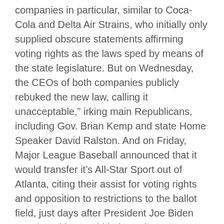companies in particular, similar to Coca-Cola and Delta Air Strains, who initially only supplied obscure statements affirming voting rights as the laws sped by means of the state legislature. But on Wednesday, the CEOs of both companies publicly rebuked the new law, calling it unacceptable," irking main Republicans, including Gov. Brian Kemp and state Home Speaker David Ralston. And on Friday, Major League Baseball announced that it would transfer it's All-Star Sport out of Atlanta, citing their assist for voting rights and opposition to restrictions to the ballot field, just days after President Joe Biden mentioned he would help such a move.
The most effective and dependable felony justice lawyers respect the constitutional rights of the defendants irrespective of how worse crimes their purchasers may have dedicated. They remain